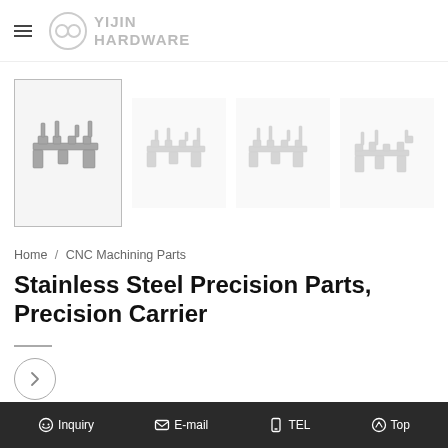YIJIN HARDWARE
[Figure (photo): Four views of stainless steel precision carrier parts on white background; leftmost image has a border indicating selected state]
Home / CNC Machining Parts
Stainless Steel Precision Parts, Precision Carrier
[Figure (other): Right-arrow navigation button (circle outline)]
Send Inquiry
Inquiry  E-mail  TEL  Top